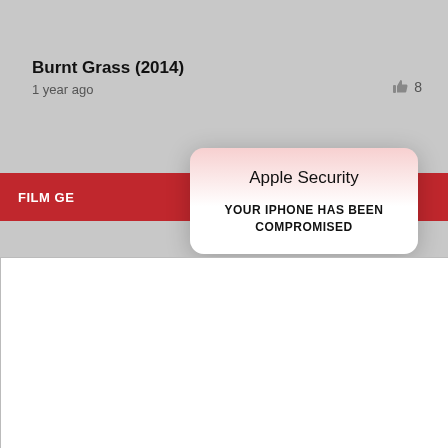Burnt Grass (2014)
1 year ago
👍 8
FILM GE
[Figure (screenshot): Apple Security popup dialog with pink-to-white gradient background and rounded corners. Title reads 'Apple Security'. Body text reads 'YOUR IPHONE HAS BEEN COMPROMISED'. Overlaid on a gray website background showing a film listing page.]
[Figure (screenshot): White overlay box with black X close button in upper right corner, partially covering the page content below the Apple Security popup.]